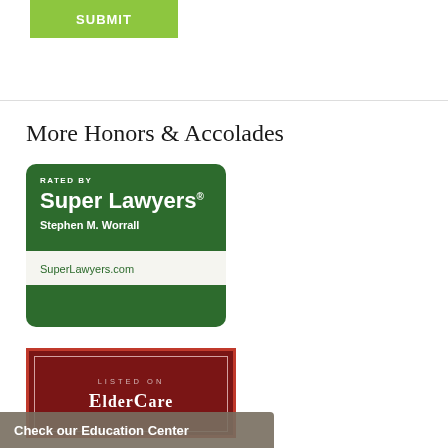[Figure (other): Green SUBMIT button at top of page]
More Honors & Accolades
[Figure (logo): Super Lawyers badge - green rounded rectangle with 'RATED BY' text, 'Super Lawyers' large text, 'Stephen M. Worrall' name, and 'SuperLawyers.com' URL in white footer]
[Figure (logo): ElderCare badge - dark red rectangle with inner border, 'LISTED ON' text above 'ElderCare' in serif font]
Check our Education Center